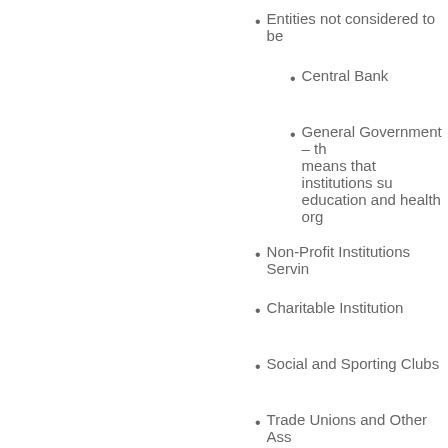Entities not considered to be
Central Bank
General Government – th means that institutions su education and health org
Non-Profit Institutions Servin
Charitable Institution
Social and Sporting Clubs
Trade Unions and Other Ass
Other Unincorporated Entity
Diplomatic or Trade Missions
Private Households Employi
The ABS Business Register doe
employing and non-employin
Single location and multiple l
Entities with complex busine (TAUs). The statistical unit re